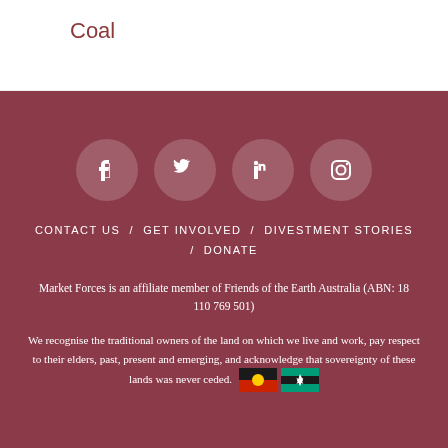Coal
[Figure (other): Social media icons: Facebook, Twitter, LinkedIn, Instagram — white icons in semi-transparent circular buttons on dark red background]
CONTACT US / GET INVOLVED / DIVESTMENT STORIES / DONATE
Market Forces is an affiliate member of Friends of the Earth Australia (ABN: 18 110 769 501)
We recognise the traditional owners of the land on which we live and work, pay respect to their elders, past, present and emerging, and acknowledge that sovereignty of these lands was never ceded.